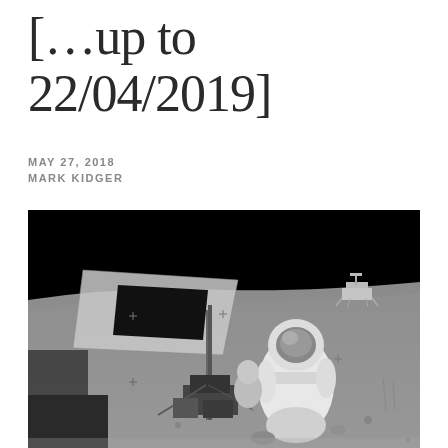[…up to 22/04/2019]
MAY 27, 2018
MARK KIDGER
[Figure (photo): Black and white photograph of an astronaut in a spacesuit working on the lunar surface near scientific equipment, with the lunar module visible in the background on the moon's horizon against a black sky.]